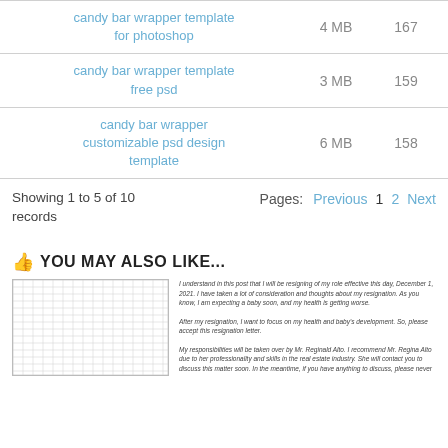| Name | Size | Count |
| --- | --- | --- |
| candy bar wrapper template for photoshop | 4 MB | 167 |
| candy bar wrapper template free psd | 3 MB | 159 |
| candy bar wrapper customizable psd design template | 6 MB | 158 |
Showing 1 to 5 of 10 records
Pages: Previous  1  2  Next
YOU MAY ALSO LIKE...
[Figure (other): Thumbnail preview of a grid/spreadsheet document on the left, and italic text from a resignation letter on the right.]